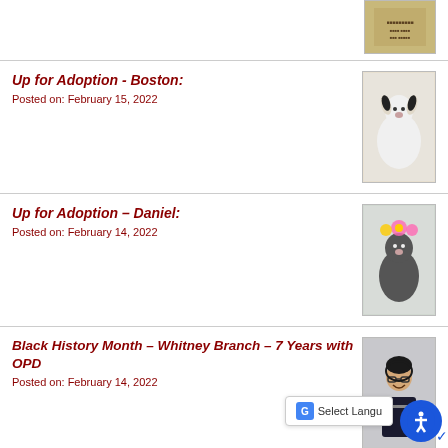[Figure (photo): Partial image visible at top right, brownish/tan poster or book cover]
Up for Adoption - Boston:
Posted on: February 15, 2022
[Figure (photo): Photo of a small black and white dog (Boston)]
Up for Adoption – Daniel:
Posted on: February 14, 2022
[Figure (photo): Photo of a dark dog with flower crown (Daniel)]
Black History Month – Whitney Branch – 7 Years with OPD
Posted on: February 14, 2022
[Figure (photo): Photo of a woman in police uniform smiling (Whitney Branch)]
New Odessa Animal Shelter Progress
Posted on: February 11, 2022